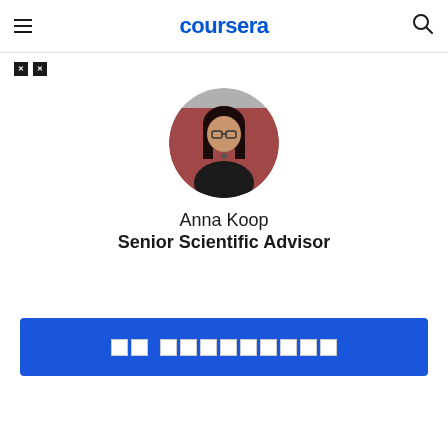coursera
[Figure (logo): Two small black squares icon (breadcrumb/navigation icons)]
[Figure (photo): Circular profile photo of Anna Koop, a woman with glasses and long dark hair wearing a black top with a necklace, against a red/grey background]
Anna Koop
Senior Scientific Advisor
[Figure (other): Blue button with white character/icon boxes containing tofu characters (unrendered glyphs)]